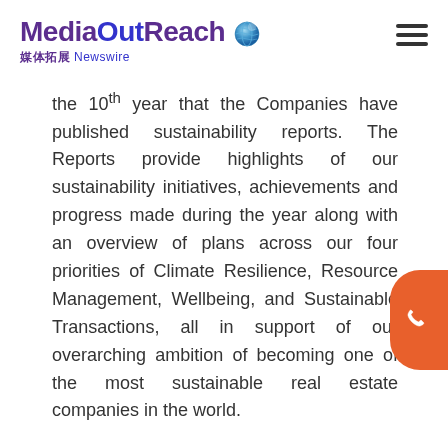MediaOutReach 媒体拓展 Newswire
the 10th year that the Companies have published sustainability reports. The Reports provide highlights of our sustainability initiatives, achievements and progress made during the year along with an overview of plans across our four priorities of Climate Resilience, Resource Management, Wellbeing, and Sustainable Transactions, all in support of our overarching ambition of becoming one of the most sustainable real estate companies in the world.